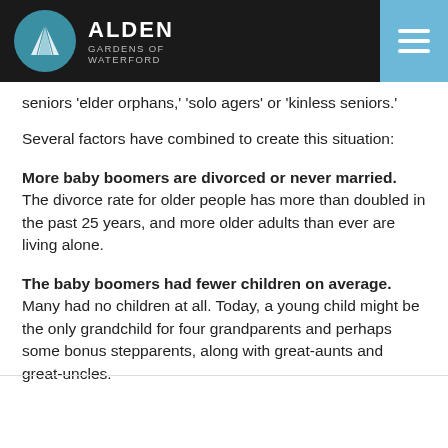ALDEN GARDENS OF WATERFORD
seniors 'elder orphans,' 'solo agers' or 'kinless seniors.'
Several factors have combined to create this situation:
More baby boomers are divorced or never married. The divorce rate for older people has more than doubled in the past 25 years, and more older adults than ever are living alone.
The baby boomers had fewer children on average. Many had no children at all. Today, a young child might be the only grandchild for four grandparents and perhaps some bonus stepparents, along with great-aunts and great-uncles.